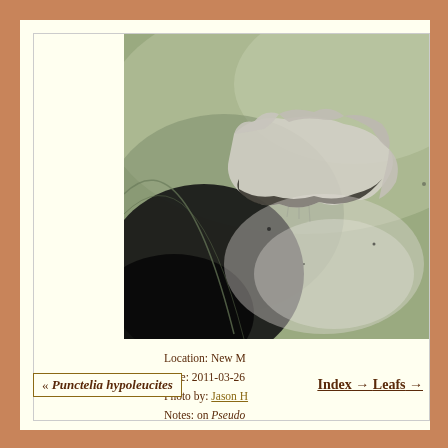[Figure (photo): Close-up macro photograph of a lichen (Punctelia species) growing on a leaf surface (Pseudo...); shows white/grey crustose thallus against pale green leaf with dark background]
Location: New M
Date: 2011-03-26
Photo by: Jason H
Notes: on Pseudo
« Punctelia hypoleucites
Index → Leafs →